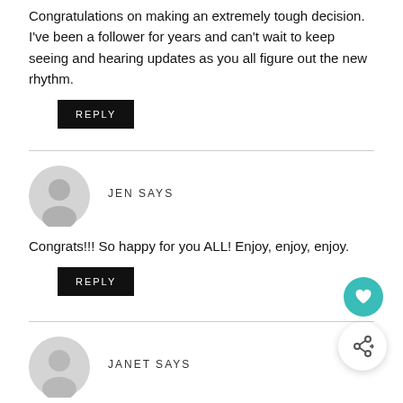Congratulations on making an extremely tough decision. I've been a follower for years and can't wait to keep seeing and hearing updates as you all figure out the new rhythm.
REPLY
JEN SAYS
Congrats!!! So happy for you ALL! Enjoy, enjoy, enjoy.
REPLY
JANET SAYS